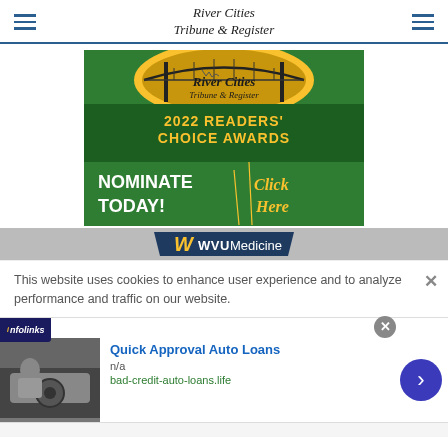River Cities Tribune & Register
[Figure (illustration): River Cities Tribune & Register 2022 READERS' CHOICE AWARDS - NOMINATE TODAY! Click Here - green and gold award banner]
[Figure (logo): WVU Medicine banner advertisement with dark blue background and gold W logo]
This website uses cookies to enhance user experience and to analyze performance and traffic on our website.
[Figure (infographic): Infolinks advertisement: Quick Approval Auto Loans, n/a, bad-credit-auto-loans.life with car image and navigation arrow]